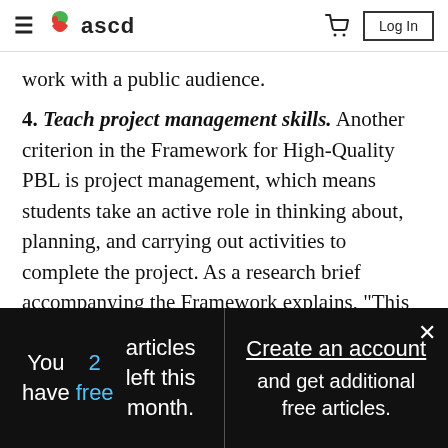ascd — Log In
work with a public audience.
4. Teach project management skills. Another criterion in the Framework for High-Quality PBL is project management, which means students take an active role in thinking about, planning, and carrying out activities to complete the project. As a research brief accompanying the Framework explains, "This intentional, decision-making role distinguishes
You have 2 free articles left this month.
Create an account and get additional free articles.